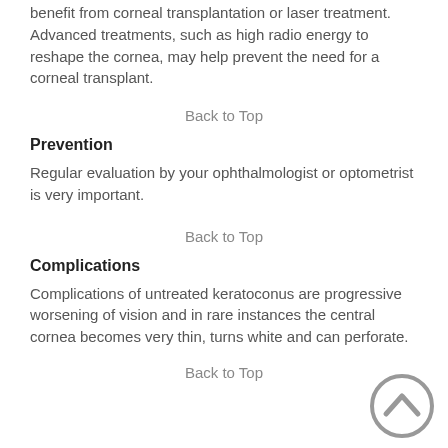benefit from corneal transplantation or laser treatment. Advanced treatments, such as high radio energy to reshape the cornea, may help prevent the need for a corneal transplant.
Back to Top
Prevention
Regular evaluation by your ophthalmologist or optometrist is very important.
Back to Top
Complications
Complications of untreated keratoconus are progressive worsening of vision and in rare instances the central cornea becomes very thin, turns white and can perforate.
Back to Top
[Figure (illustration): Circular scroll-to-top arrow button in gray]